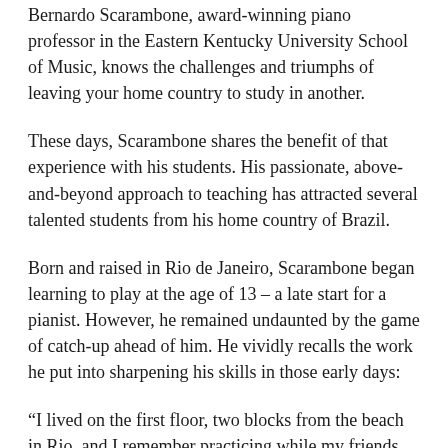Bernardo Scarambone, award-winning piano professor in the Eastern Kentucky University School of Music, knows the challenges and triumphs of leaving your home country to study in another.
These days, Scarambone shares the benefit of that experience with his students. His passionate, above-and-beyond approach to teaching has attracted several talented students from his home country of Brazil.
Born and raised in Rio de Janeiro, Scarambone began learning to play at the age of 13 – a late start for a pianist. However, he remained undaunted by the game of catch-up ahead of him. He vividly recalls the work he put into sharpening his skills in those early days:
“I lived on the first floor, two blocks from the beach in Rio, and I remember practicing while my friends would pass by on their way to the beach in the morning. And at night, I would